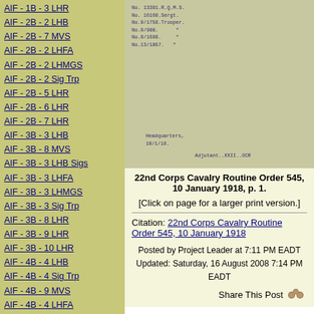AIF - 1B - 3 LHR
AIF - 2B - 2 LHB
AIF - 2B - 7 MVS
AIF - 2B - 2 LHFA
AIF - 2B - 2 LHMGS
AIF - 2B - 2 Sig Trp
AIF - 2B - 5 LHR
AIF - 2B - 6 LHR
AIF - 2B - 7 LHR
AIF - 3B - 3 LHB
AIF - 3B - 8 MVS
AIF - 3B - 3 LHB Sigs
AIF - 3B - 3 LHFA
AIF - 3B - 3 LHMGS
AIF - 3B - 3 Sig Trp
AIF - 3B - 8 LHR
AIF - 3B - 9 LHR
AIF - 3B - 10 LHR
AIF - 4B - 4 LHB
AIF - 4B - 4 Sig Trp
AIF - 4B - 9 MVS
AIF - 4B - 4 LHFA
AIF - 4B - 4 LHMGS
AIF - 4B - 4 LHR
AIF - 4B - 11 LHR
AIF - 4B - 12 LHR
AIF - 5B - 5 LHB
AIF - 5B - 10 MVS
[Figure (photo): Scanned historical document showing a military routine order with typewritten text including reference numbers and headquarters information dated 10/1/18]
22nd Corps Cavalry Routine Order 545, 10 January 1918, p. 1.
[Click on page for a larger print version.]
Citation: 22nd Corps Cavalry Routine Order 545, 10 January 1918
Posted by Project Leader at 7:11 PM EADT
Updated: Saturday, 16 August 2008 7:14 PM EADT
Share This Post